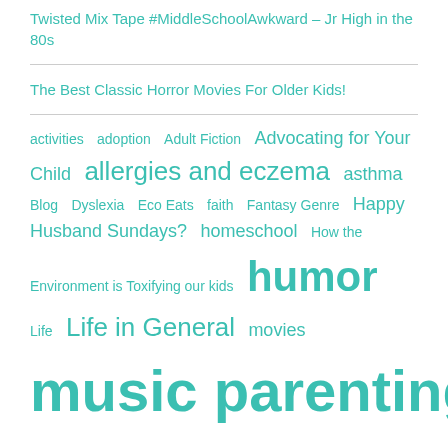Twisted Mix Tape #MiddleSchoolAwkward – Jr High in the 80s
The Best Classic Horror Movies For Older Kids!
activities  adoption  Adult Fiction  Advocating for Your Child  allergies and eczema  asthma  Blog  Dyslexia  Eco Eats  faith  Fantasy Genre  Happy Husband Sundays?  homeschool  How the Environment is Toxifying our kids  humor  Life  Life in General  movies  music  parenting